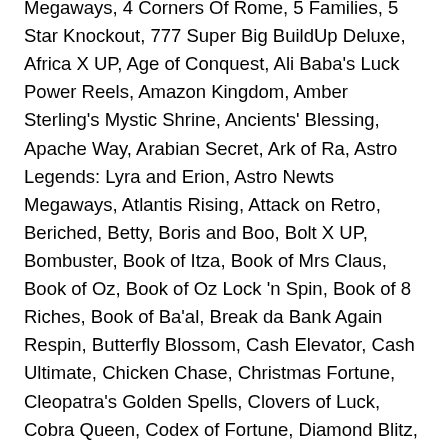Megaways, 4 Corners Of Rome, 5 Families, 5 Star Knockout, 777 Super Big BuildUp Deluxe, Africa X UP, Age of Conquest, Ali Baba's Luck Power Reels, Amazon Kingdom, Amber Sterling's Mystic Shrine, Ancients' Blessing, Apache Way, Arabian Secret, Ark of Ra, Astro Legends: Lyra and Erion, Astro Newts Megaways, Atlantis Rising, Attack on Retro, Beriched, Betty, Boris and Boo, Bolt X UP, Bombuster, Book of Itza, Book of Mrs Claus, Book of Oz, Book of Oz Lock 'n Spin, Book of 8 Riches, Book of Ba'al, Break da Bank Again Respin, Butterfly Blossom, Cash Elevator, Cash Ultimate, Chicken Chase, Christmas Fortune, Cleopatra's Golden Spells, Clovers of Luck, Cobra Queen, Codex of Fortune, Diamond Blitz, Diamond King Gold, Diamond Royale, Disco Dawgs, Dragon Kingdom- Eyes of Fire, Dragon Ladies, Dragons Clusterbuster, Dragon's Fire Infinireels, Dynamite Riches Megaways, Egyptian Fortunes, Emerald King, Emeralds of Oz, Empire Shields, Fa Fa Babies, Flower Fortunes Megaways, Fortune Rush, Get the Gold Infinireels, Gods of Troy, Gold'orado, Gold's Guardian,